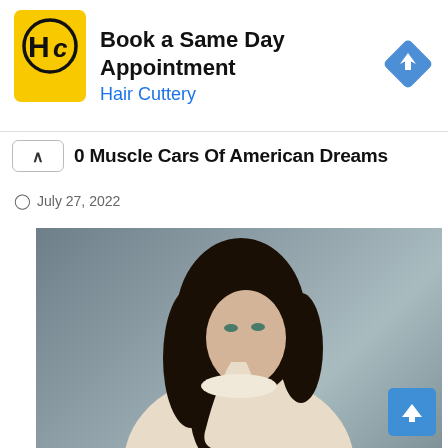[Figure (other): Hair Cuttery advertisement banner with yellow logo showing HC letters, text 'Book a Same Day Appointment' and 'Hair Cuttery', blue diamond navigation icon on right]
0 Muscle Cars Of American Dreams
July 27, 2022
[Figure (photo): Young woman with long dark curly hair, resting her face on her hand, wearing a light cream/white ruffled blouse, photographed against a gray background]